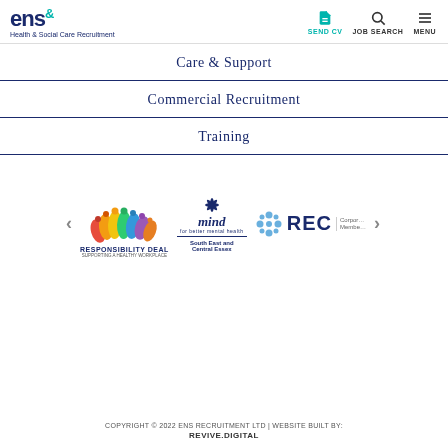ENS Health & Social Care Recruitment — SEND CV | JOB SEARCH | MENU
Care & Support
Commercial Recruitment
Training
[Figure (logo): Logos of partner organisations: Responsibility Deal, Mind South East and Central Essex, REC Corporate Member]
COPYRIGHT © 2022 ENS RECRUITMENT LTD | WEBSITE BUILT BY: REVIVE.DIGITAL